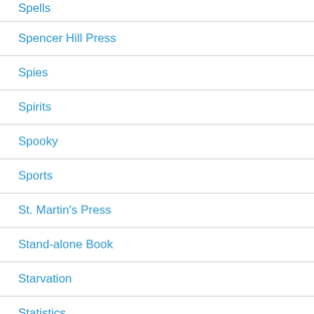Spells
Spencer Hill Press
Spies
Spirits
Spooky
Sports
St. Martin's Press
Stand-alone Book
Starvation
Statistics